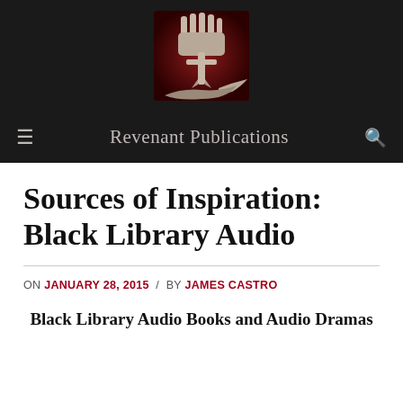[Figure (logo): Revenant Publications logo: a raised fist holding arrows on a dark red background with a hand silhouette below]
Revenant Publications
Sources of Inspiration: Black Library Audio
ON JANUARY 28, 2015 / BY JAMES CASTRO
Black Library Audio Books and Audio Dramas